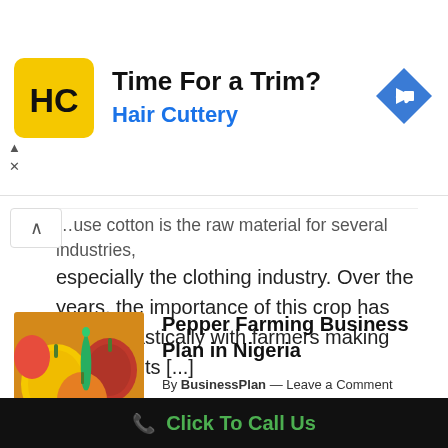[Figure (other): Advertisement banner for Hair Cuttery salon. Shows HC logo in yellow square, headline 'Time For a Trim?', subtitle 'Hair Cuttery' in blue, and a blue diamond arrow icon on the right.]
…use cotton is the raw material for several industries, especially the clothing industry. Over the years, the importance of this crop has grown drastically with farmers making huge profits [...]
[Figure (photo): Photo of colorful peppers — yellow, orange, and red bell peppers along with a green chili pepper.]
Pepper Farming Business Plan in Nigeria
By BusinessPlan — Leave a Comment
Click To Call Us